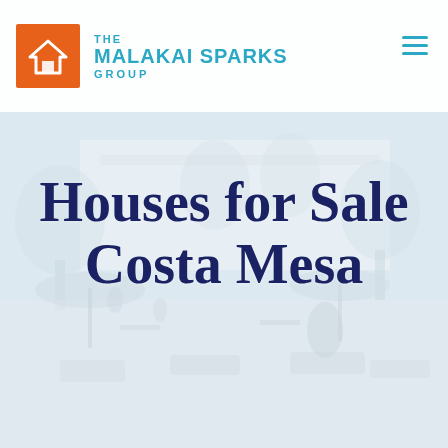[Figure (logo): The Malakai Sparks Group logo: orange square with white house icon on left, teal brand name text on right reading THE MALAKAI SPARKS GROUP]
[Figure (photo): Washed-out light blue tinted background photo of an outdoor commercial plaza or marketplace area with patio seating, umbrellas, lounge chairs, trees and a white building facade. The photo is heavily faded/desaturated to serve as a background.]
Houses for Sale Costa Mesa